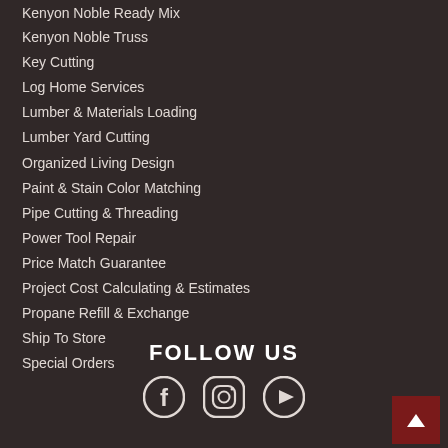Kenyon Noble Ready Mix
Kenyon Noble Truss
Key Cutting
Log Home Services
Lumber & Materials Loading
Lumber Yard Cutting
Organized Living Design
Paint & Stain Color Matching
Pipe Cutting & Threading
Power Tool Repair
Price Match Guarantee
Project Cost Calculating & Estimates
Propane Refill & Exchange
Ship To Store
Special Orders
FOLLOW US
[Figure (illustration): Social media icons: Facebook, Instagram, YouTube]
[Figure (other): Back to top button with upward arrow]